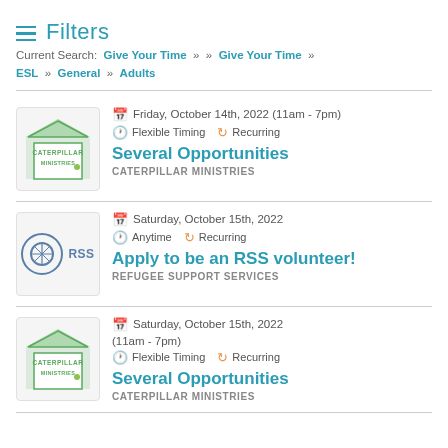≡ Filters
Current Search: Give Your Time » » Give Your Time » ESL » General » Adults
Friday, October 14th, 2022 (11am - 7pm)
Flexible Timing  Recurring
Several Opportunities
CATERPILLAR MINISTRIES
Saturday, October 15th, 2022
Anytime  Recurring
Apply to be an RSS volunteer!
REFUGEE SUPPORT SERVICES
Saturday, October 15th, 2022
(11am - 7pm)
Flexible Timing  Recurring
Several Opportunities
CATERPILLAR MINISTRIES